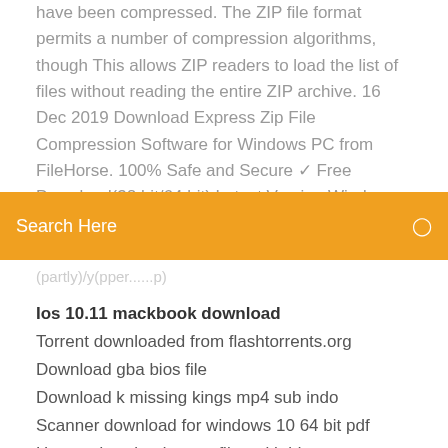have been compressed. The ZIP file format permits a number of compression algorithms, though This allows ZIP readers to load the list of files without reading the entire ZIP archive. 16 Dec 2019 Download Express Zip File Compression Software for Windows PC from FileHorse. 100% Safe and Secure ✓ Free Download(32 bit/64 bit) Latest Version Windows XP/Vista/...
[Figure (screenshot): Orange search bar overlay with text 'Search Here' and a search icon on the right]
(partly obscured line of faded text)
Ios 10.11 mackbook download
Torrent downloaded from flashtorrents.org
Download gba bios file
Download k missing kings mp4 sub indo
Scanner download for windows 10 64 bit pdf
How to download mega files with idm
Minecraft t launcher download
Supp professional lens pc camera download
Windows 10 pc test download